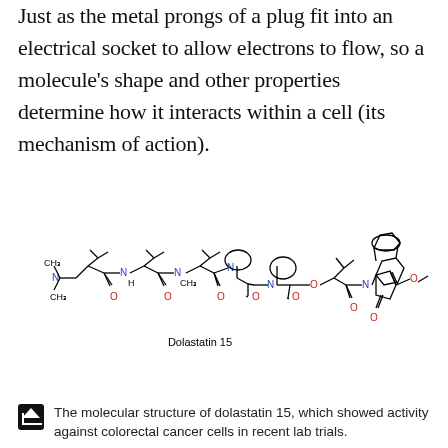Just as the metal prongs of a plug fit into an electrical socket to allow electrons to flow, so a molecule's shape and other properties determine how it interacts within a cell (its mechanism of action).
[Figure (schematic): Chemical structure diagram of Dolastatin 15, a peptide molecule shown with multiple amino acid residues connected by amide and ester bonds, with nitrogen atoms in blue and oxygen atoms in red. The structure includes a terminal maleimide ring with a methoxyphenyl group.]
The molecular structure of dolastatin 15, which showed activity against colorectal cancer cells in recent lab trials.